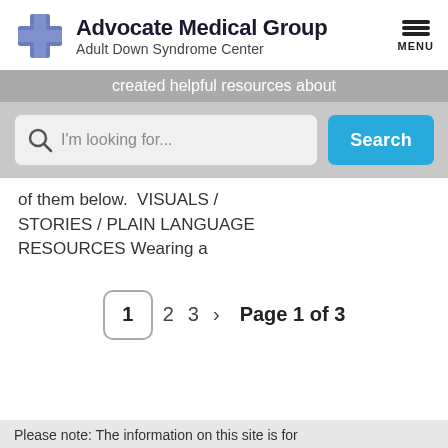[Figure (logo): Advocate Medical Group Adult Down Syndrome Center logo with blue cross icon]
created helpful resources about
[Figure (screenshot): Search bar with magnifying glass icon, placeholder text 'I'm looking for...' and a blue Search button]
of them below. VISUALS / STORIES / PLAIN LANGUAGE RESOURCES Wearing a
1  2  3  >  Page 1 of 3
Please note: The information on this site is for